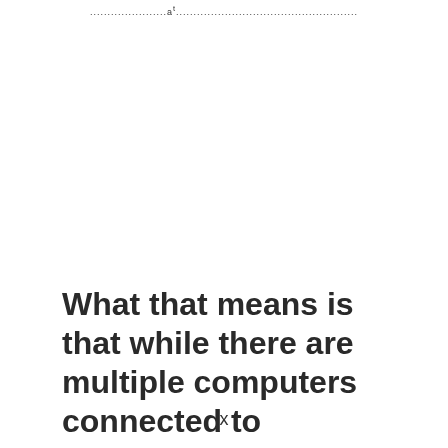......................a.t....................................................
What that means is that while there are multiple computers connected to
x